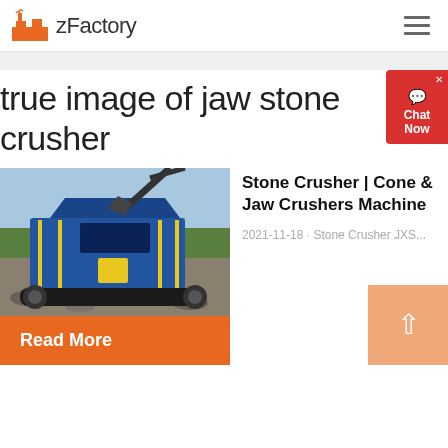zFactory
true image of jaw stone crusher
[Figure (photo): Blue mobile jaw/cone stone crusher machine on a rocky outdoor site with excavator arm visible above and trees in background]
Stone Crusher | Cone & Jaw Crushers Machine
2021-11-18 · Stone Crusher JXS...
Read More